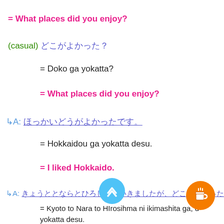= What places did you enjoy?
(casual) どこがよかった？
= Doko ga yokatta?
= What places did you enjoy?
↳A: ほっかいどうがよかったです。
= Hokkaidou ga yokatta desu.
= I liked Hokkaido.
↳A: きょうととならとひろしまにいきましたが、どこもよかったです。
= Kyoto to Nara to HIrosihma ni ikimashita ga, d yokatta desu.